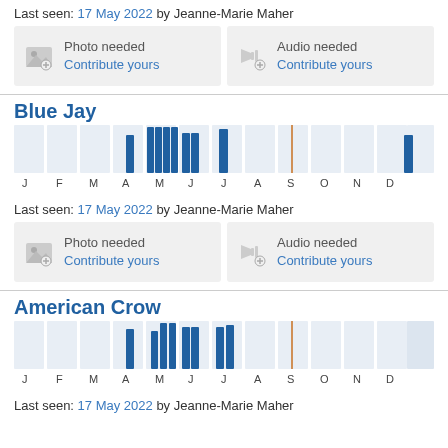Last seen: 17 May 2022 by Jeanne-Marie Maher
[Figure (infographic): Two media contribution cards: 'Photo needed / Contribute yours' and 'Audio needed / Contribute yours' with placeholder icons on gray background]
Blue Jay
[Figure (bar-chart): Blue Jay sighting frequency by month]
Last seen: 17 May 2022 by Jeanne-Marie Maher
[Figure (infographic): Two media contribution cards: 'Photo needed / Contribute yours' and 'Audio needed / Contribute yours' with placeholder icons on gray background]
American Crow
[Figure (bar-chart): American Crow sighting frequency by month]
Last seen: 17 May 2022 by Jeanne-Marie Maher